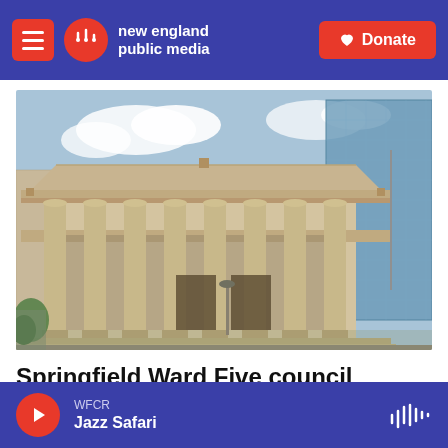new england public media | Donate
[Figure (photo): Classical Greek Revival building with large columns and triangular pediment, likely Springfield City Hall or a courthouse. Modern glass building visible in background.]
Springfield Ward Five council election draws a crowd
WFCR Jazz Safari